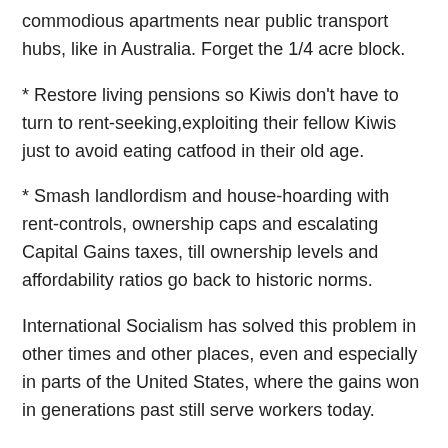commodious apartments near public transport hubs, like in Australia. Forget the 1/4 acre block.
* Restore living pensions so Kiwis don't have to turn to rent-seeking,exploiting their fellow Kiwis just to avoid eating catfood in their old age.
* Smash landlordism and house-hoarding with rent-controls, ownership caps and escalating Capital Gains taxes, till ownership levels and affordability ratios go back to historic norms.
International Socialism has solved this problem in other times and other places, even and especially in parts of the United States, where the gains won in generations past still serve workers today.